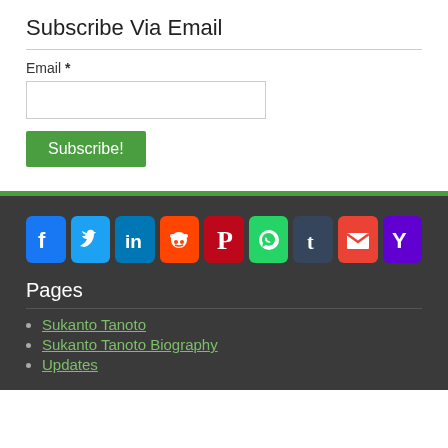Subscribe Via Email
Email *
[Figure (screenshot): Email input text field, empty, with border]
[Figure (screenshot): Green Subscribe! button]
[Figure (infographic): Row of 9 social media icon buttons: Facebook (blue), Twitter (light blue), LinkedIn (blue), Reddit (orange), Pinterest (red), WhatsApp (green), Tumblr (dark blue), Gmail (red/white M), Yahoo (purple Y)]
Pages
Sukanto Tanoto
Sukanto Tanoto Biography
Updates